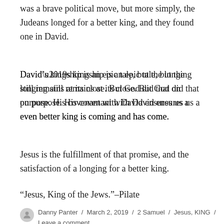was a brave political move, but more simply, the Judeans longed for a better king, and they found one in David.
David’s kingship is an epic tale, but the longing still remains at its close. But God did that on purpose. His covenant with David ensures us a even better king is coming and has come.
Jesus is the fulfillment of that promise, and the satisfaction of a longing for a better king.
“Jesus, King of the Jews.”–Pilate
Danny Panter / March 2, 2019 / 2 Samuel / Jesus, KING / Leave a comment